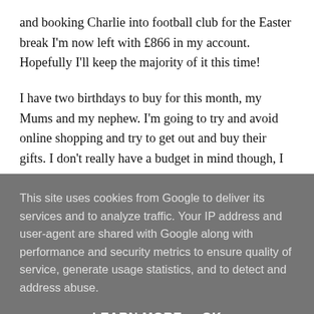and booking Charlie into football club for the Easter break I'm now left with £866 in my account. Hopefully I'll keep the majority of it this time!
I have two birthdays to buy for this month, my Mums and my nephew. I'm going to try and avoid online shopping and try to get out and buy their gifts. I don't really have a budget in mind though, I have no idea what to buy them!
I do also desperately need new bras but other than that,
This site uses cookies from Google to deliver its services and to analyze traffic. Your IP address and user-agent are shared with Google along with performance and security metrics to ensure quality of service, generate usage statistics, and to detect and address abuse.
LEARN MORE   OK